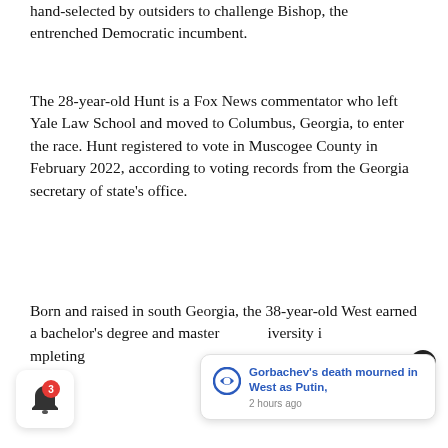hand-selected by outsiders to challenge Bishop, the entrenched Democratic incumbent.
The 28-year-old Hunt is a Fox News commentator who left Yale Law School and moved to Columbus, Georgia, to enter the race. Hunt registered to vote in Muscogee County in February 2022, according to voting records from the Georgia secretary of state's office.
Born and raised in south Georgia, the 38-year-old West earned a bachelor's degree and master... iversity i... mpleting...
[Figure (screenshot): Push notification overlay from 'updatem' app showing headline 'Gorbachev's death mourned in West as Putin,' with timestamp '2 hours ago' and a close button (X). Also shows a bell icon with red badge showing '3'.]